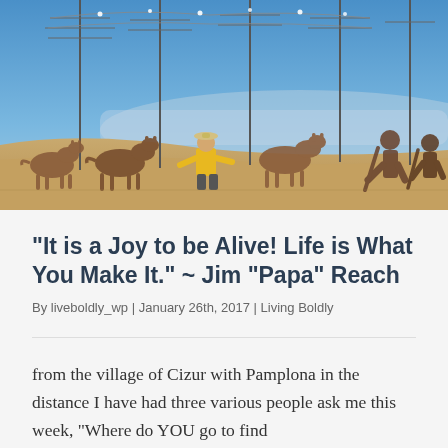[Figure (photo): Outdoor photo of a person in a yellow jacket standing among metal silhouette sculptures of donkeys and pilgrims on a hillside, with a vast valley and blue sky in the background. Tall antenna poles are visible along the top.]
“It is a Joy to be Alive! Life is What You Make It.” ~ Jim “Papa” Reach
By liveboldly_wp | January 26th, 2017 | Living Boldly
from the village of Cizur with Pamplona in the distance I have had three various people ask me this week, "Where do YOU go to find